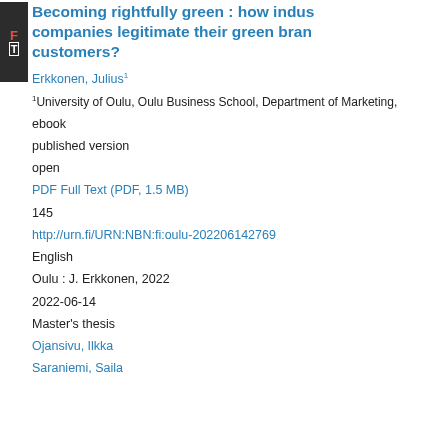Becoming rightfully green : how indus companies legitimate their green bran customers?
Erkkonen, Julius¹
¹University of Oulu, Oulu Business School, Department of Marketing,
ebook
published version
open
PDF Full Text (PDF, 1.5 MB)
145
http://urn.fi/URN:NBN:fi:oulu-202206142769
English
Oulu : J. Erkkonen, 2022
2022-06-14
Master's thesis
Ojansivu, Ilkka
Saraniemi, Saila